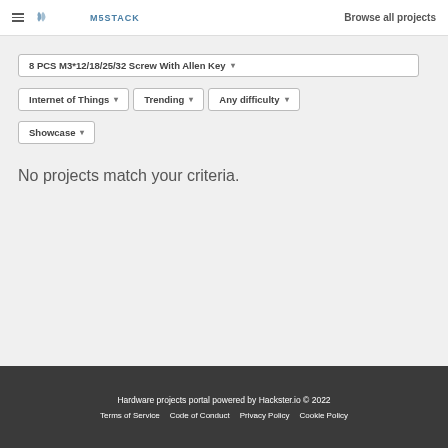M5STACK | Browse all projects
8 PCS M3*12/18/25/32 Screw With Allen Key ▾
Internet of Things ▾
Trending ▾
Any difficulty ▾
Showcase ▾
No projects match your criteria.
Hardware projects portal powered by Hackster.io © 2022
Terms of Service   Code of Conduct   Privacy Policy   Cookie Policy